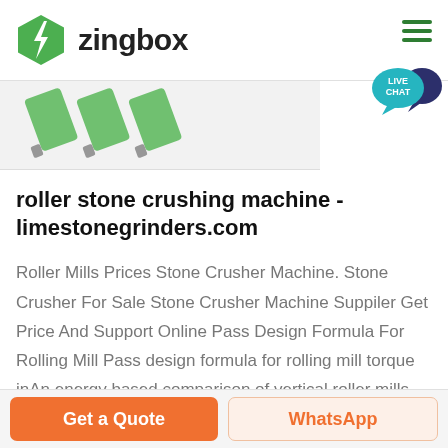zingbox
[Figure (logo): Zingbox green hexagon lightning bolt logo with text 'zingbox']
[Figure (photo): Partial product image showing roller/grinding machine equipment with green tinted bars]
roller stone crushing machine - limestonegrinders.com
Roller Mills Prices Stone Crusher Machine. Stone Crusher For Sale Stone Crusher Machine Suppiler Get Price And Support Online Pass Design Formula For Rolling Mill Pass design formula for rolling mill torque inAn energy based comparison of vertical roller mills